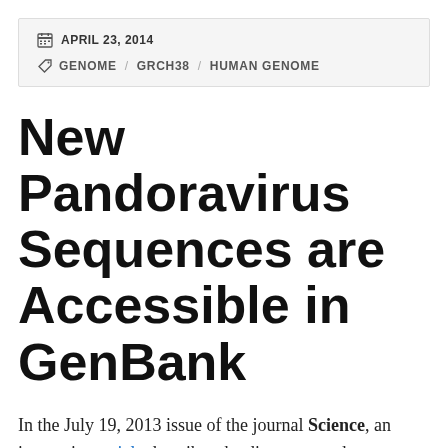APRIL 23, 2014 | GENOME / GRCH38 / HUMAN GENOME
New Pandoravirus Sequences are Accessible in GenBank
In the July 19, 2013 issue of the journal Science, an interesting article describes the discovery and